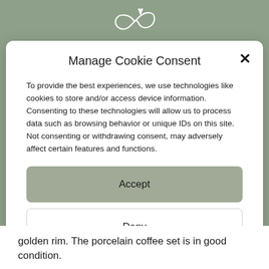[Figure (logo): Decorative infinity/swirl logo in white on sage green background]
Manage Cookie Consent
To provide the best experiences, we use technologies like cookies to store and/or access device information. Consenting to these technologies will allow us to process data such as browsing behavior or unique IDs on this site. Not consenting or withdrawing consent, may adversely affect certain features and functions.
Accept
Deny
View preferences
Privacy Policy   Imprint
golden rim. The porcelain coffee set is in good condition.